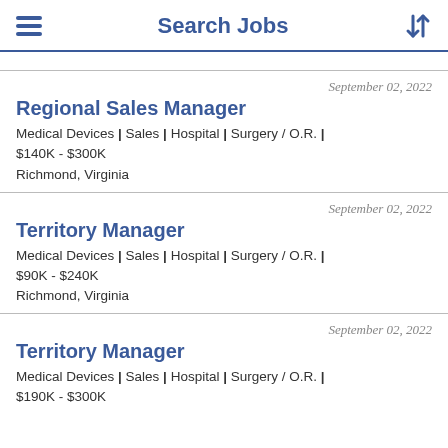Search Jobs
September 02, 2022 | Regional Sales Manager | Medical Devices | Sales | Hospital | Surgery / O.R. | $140K - $300K | Richmond, Virginia
September 02, 2022 | Territory Manager | Medical Devices | Sales | Hospital | Surgery / O.R. | $90K - $240K | Richmond, Virginia
September 02, 2022 | Territory Manager | Medical Devices | Sales | Hospital | Surgery / O.R. | $190K - $300K